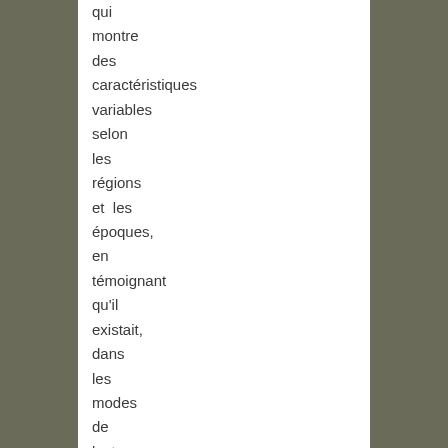qui montre des caractéristiques variables selon les régions et les époques, en témoignant qu'il existait, dans les modes de lecture des textes, des diffi